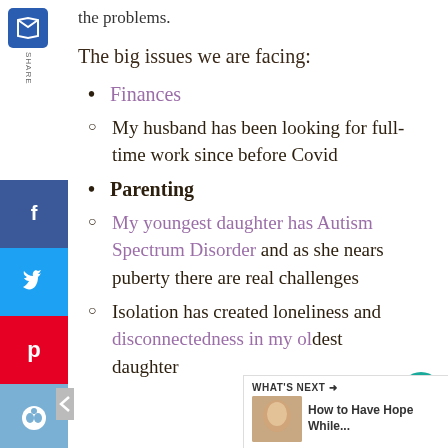the problems.
The big issues we are facing:
Finances
My husband has been looking for full-time work since before Covid
Parenting
My youngest daughter has Autism Spectrum Disorder and as she nears puberty there are real challenges
Isolation has created loneliness and disconnectedness in my oldest daughter